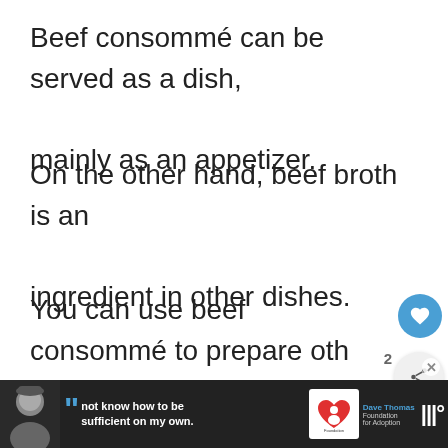Beef consommé can be served as a dish, mainly as an appetizer.
On the other hand, beef broth is an ingredient in other dishes.
You can use beef consommé to prepare other dishes, but this requires a certain level of culinary expertise- so you could stick to a main dish if you are still in the newbie
[Figure (screenshot): Bottom advertisement bar with person photo, quote text 'not know how to be sufficient on my own.', Dave Thomas Foundation for Adoption logo, and music app icon. Also shows heart button, share button, count badge (2), and What's Next panel for Top 15 Beef Broth...]